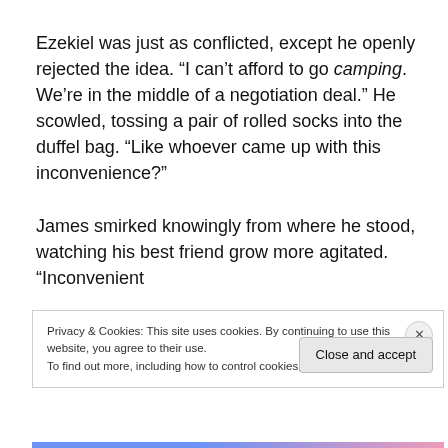Ezekiel was just as conflicted, except he openly rejected the idea. “I can’t afford to go camping. We’re in the middle of a negotiation deal.” He scowled, tossing a pair of rolled socks into the duffel bag. “Like whoever came up with this inconvenience?”

James smirked knowingly from where he stood, watching his best friend grow more agitated. “Inconvenient
Privacy & Cookies: This site uses cookies. By continuing to use this website, you agree to their use.
To find out more, including how to control cookies, see here: Cookie Policy